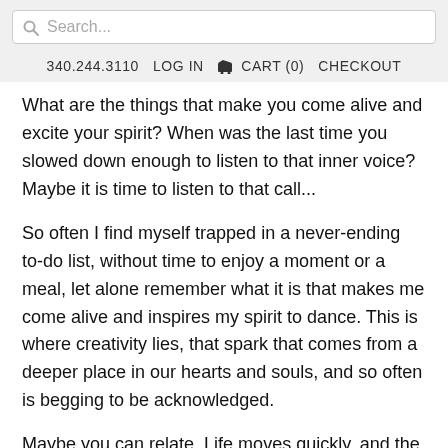Search...
340.244.3110   LOG IN   🛒 CART (0)   CHECKOUT
What are the things that make you come alive and excite your spirit? When was the last time you slowed down enough to listen to that inner voice? Maybe it is time to listen to that call...
So often I find myself trapped in a never-ending to-do list, without time to enjoy a moment or a meal, let alone remember what it is that makes me come alive and inspires my spirit to dance. This is where creativity lies, that spark that comes from a deeper place in our hearts and souls, and so often is begging to be acknowledged.
Maybe you can relate. Life moves quickly, and the magic is in the slow moments when we remember what it is that makes our spirits DANCE.